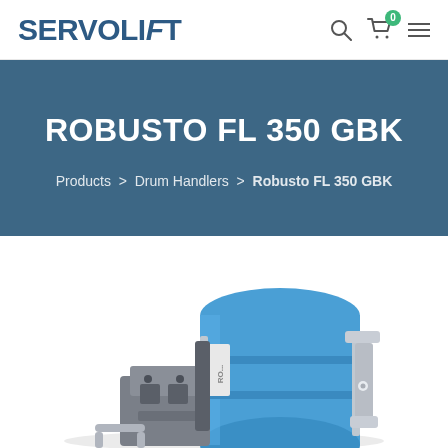SERVOLiFT
ROBUSTO FL 350 GBK
Products > Drum Handlers > Robusto FL 350 GBK
[Figure (photo): Photo of the Robusto FL 350 GBK drum handler — a blue and silver industrial drum lifting machine with clamping arms, partially cropped at the bottom of the page]